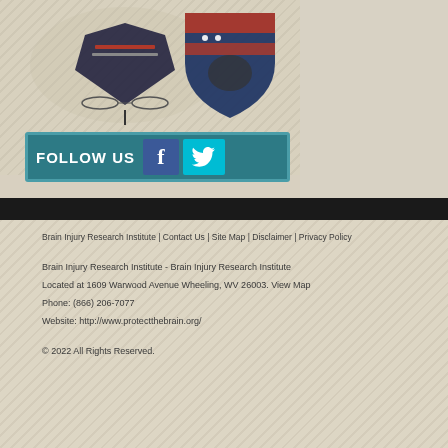[Figure (logo): Two organizational logos: a medical/academic crest and a patriotic shield with American flag design]
[Figure (infographic): Follow Us social media bar with Facebook and Twitter icons on teal/dark background]
Brain Injury Research Institute | Contact Us | Site Map | Disclaimer | Privacy Policy
Brain Injury Research Institute - Brain Injury Research Institute
Located at 1609 Warwood Avenue Wheeling, WV 26003. View Map
Phone: (866) 206-7077
Website: http://www.protectthebrain.org/
© 2022 All Rights Reserved.